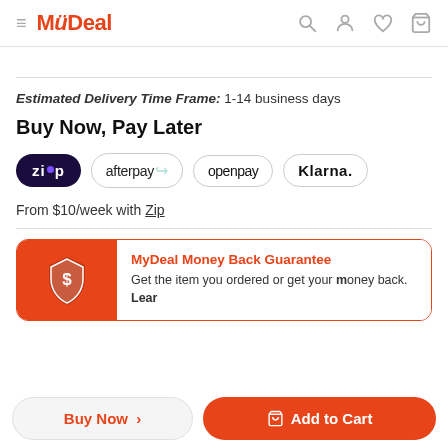MyDeal
Estimated Delivery Time Frame: 1-14 business days
Buy Now, Pay Later
[Figure (logo): Payment provider logos: Zip, Afterpay, Openpay, Klarna]
From $10/week with Zip
MyDeal Money Back Guarantee
Get the item you ordered or get your money back. Learn more.